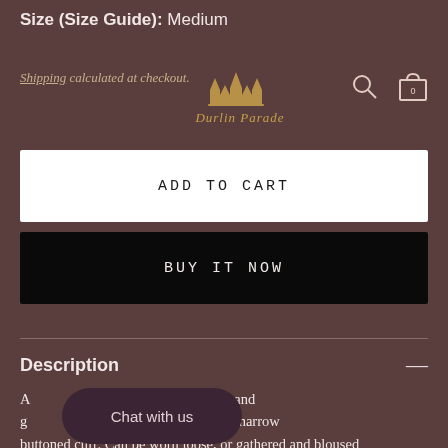Size (Size Guide): Medium
Shipping calculated at checkout.
[Figure (logo): Durlin Parade decorative brand logo in gold script with architectural silhouette]
ADD TO CART
BUY IT NOW
Description
A ...ss with three tiered skirt, and g... op sleeves gathered into a narrow buttoned cuff. Can be worn loose, or gathered and bloused at the waist with the long tasselled rouleau drawstring.
Chat with us